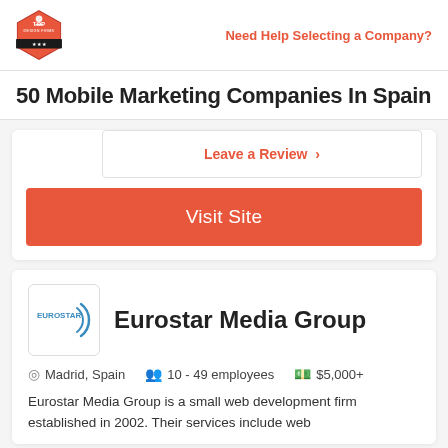Top Design Firms | Need Help Selecting a Company?
50 Mobile Marketing Companies In Spain
Leave a Review >
Visit Site
Eurostar Media Group
Madrid, Spain   10 - 49 employees   $5,000+
Eurostar Media Group is a small web development firm established in 2002. Their services include web...